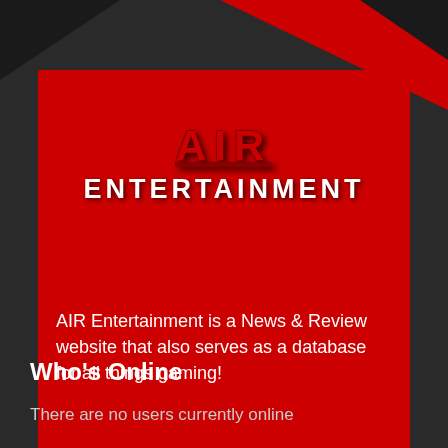[Figure (logo): AIR Entertainment logo on red background card with decorative dark triangular header area]
AIR
ENTERTAINMENT
AIR Entertainment is a News & Review website that also serves as a database for all things gaming!
Who’s Online
There are no users currently online